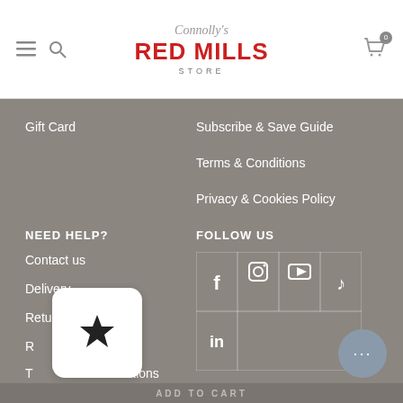Connolly's RED MILLS STORE
Gift Card
Subscribe & Save Guide
Terms & Conditions
Privacy & Cookies Policy
NEED HELP?
Contact us
Delivery
Returns
R...
T...nditions
FOLLOW US
[Figure (infographic): Social media icon grid with Facebook, Instagram, YouTube, TikTok, LinkedIn]
[Figure (other): Reward/star popup widget and chat bubble button; Add to Cart bar at bottom]